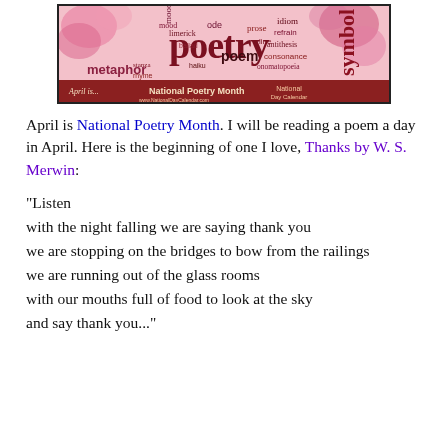[Figure (illustration): National Poetry Month banner with word cloud including 'poetry', 'metaphor', 'poem', 'symbol', 'ode', 'refrain', 'idiom', 'antithesis', 'consonance', 'onomatopoeia', 'mood', 'line', 'prose' in various fonts and colors on a pink/floral background. Bottom bar reads 'April is... National Poetry Month' with National Day Calendar logo.]
April is National Poetry Month. I will be reading a poem a day in April. Here is the beginning of one I love, Thanks by W. S. Merwin:
"Listen
with the night falling we are saying thank you
we are stopping on the bridges to bow from the railings
we are running out of the glass rooms
with our mouths full of food to look at the sky
and say thank you..."